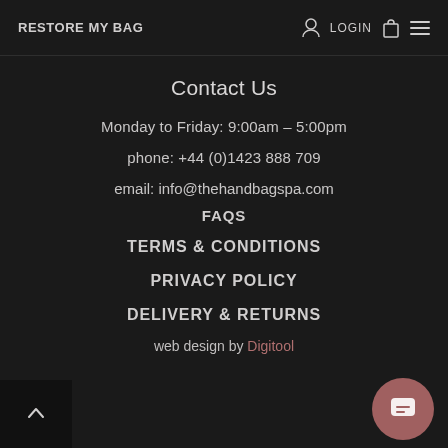RESTORE MY BAG   LOGIN
Contact Us
Monday to Friday: 9:00am – 5:00pm
phone: +44 (0)1423 888 709
email: info@thehandbagspa.com
FAQS
TERMS & CONDITIONS
PRIVACY POLICY
DELIVERY & RETURNS
web design by Digitool